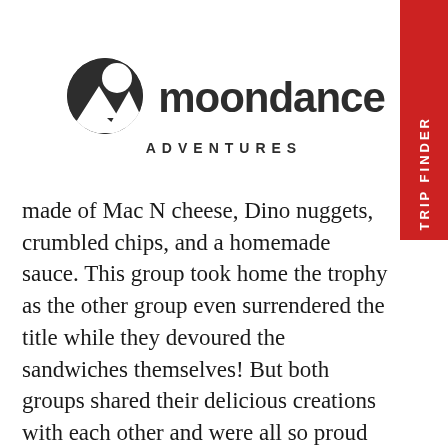[Figure (logo): Moondance Adventures logo with mountain/moon icon and wordmark]
made of Mac N cheese, Dino nuggets, crumbled chips, and a homemade sauce. This group took home the trophy as the other group even surrendered the title while they devoured the sandwiches themselves! But both groups shared their delicious creations with each other and were all so proud of how far their cooking skills have come! After a thorough cleanup, Reese, Margaret, Hadley, Baer, and Anna sat on the beach for sunset, while Charlotte, Hampton, and Mattie challenged Carter to some more card games. We had an INCREDIBLE Moonup that LODs Mattie and Hampton led. Mattie orchestrated an entire game for the group that